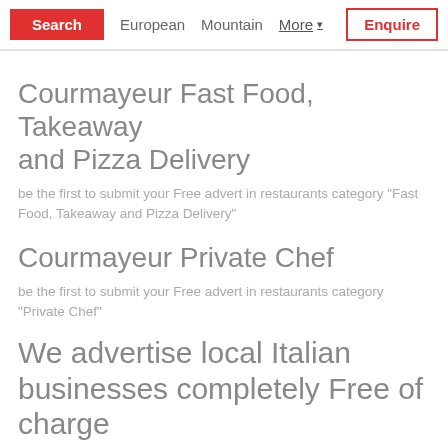Search | European | Mountain | More | Enquire
Courmayeur Fast Food, Takeaway and Pizza Delivery
be the first to submit your Free advert in restaurants category "Fast Food, Takeaway and Pizza Delivery"
Courmayeur Private Chef
be the first to submit your Free advert in restaurants category "Private Chef"
We advertise local Italian businesses completely Free of charge
So add yours here - just look at all the info pages about your resort and tell us where you'd like to be displayed.